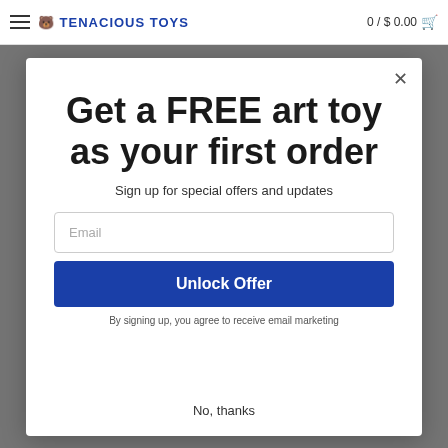TENACIOUS TOYS  0 / $ 0.00
Get a FREE art toy as your first order
Sign up for special offers and updates
Email
Unlock Offer
By signing up, you agree to receive email marketing
No, thanks